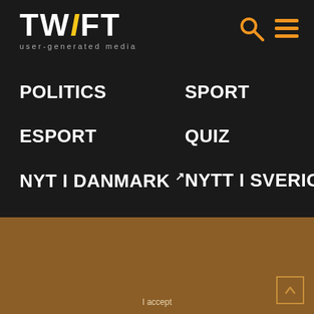[Figure (logo): TWIFT logo with yellow italic I, user-generated media subtitle]
[Figure (other): Search icon and hamburger menu icon in orange, top right]
POLITICS
SPORT
ESPORT
QUIZ
NYT I DANMARK ↗
NYTT I SVERIGE
FUNNY
TWIFT EDUCATES
INFO ▼
We have some adult $hit here, check policy for more details.
Copyright © 2018-2022 TWIFT. All rights reserved
agreeing on use of cookies. Review our cookies information for more details.
dsgnd & dvlpd by sinch.pro
I accept